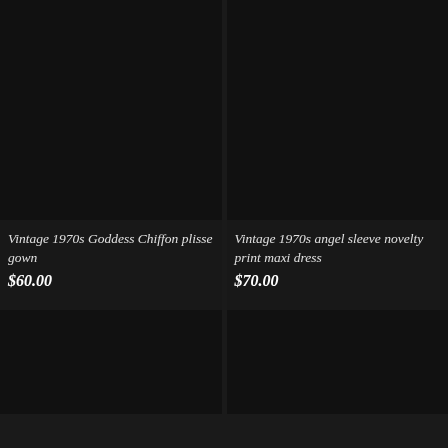[Figure (photo): Dark product image placeholder for Vintage 1970s Goddess Chiffon plisse gown]
Vintage 1970s Goddess Chiffon plisse gown
$60.00
[Figure (photo): Dark product image placeholder for Vintage 1970s angel sleeve novelty print maxi dress]
Vintage 1970s angel sleeve novelty print maxi dress
$70.00
[Figure (photo): Dark product image placeholder, bottom left]
[Figure (photo): Dark product image placeholder, bottom right]